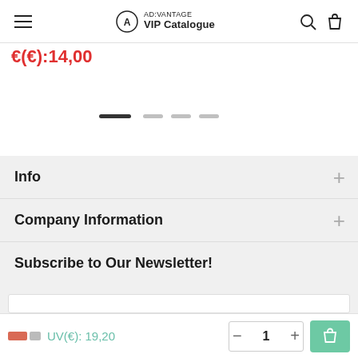AD:VANTAGE VIP Catalogue
€(€):14,00
[Figure (other): Carousel navigation dots: one dark active dot and three lighter inactive dots]
Info
Company Information
Subscribe to Our Newsletter!
UV(€): 19,20  1